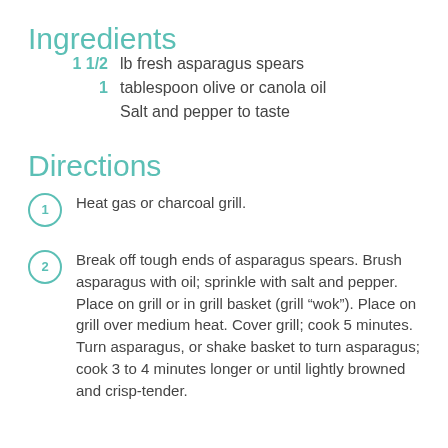Ingredients
1 1/2 lb fresh asparagus spears
1 tablespoon olive or canola oil
Salt and pepper to taste
Directions
1 Heat gas or charcoal grill.
2 Break off tough ends of asparagus spears. Brush asparagus with oil; sprinkle with salt and pepper. Place on grill or in grill basket (grill “wok”). Place on grill over medium heat. Cover grill; cook 5 minutes. Turn asparagus, or shake basket to turn asparagus; cook 3 to 4 minutes longer or until lightly browned and crisp-tender.